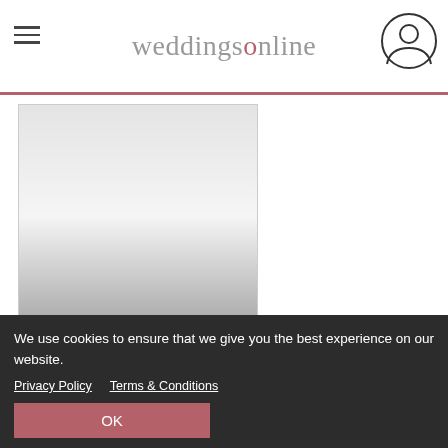weddingsonline
[Figure (photo): Wedding venue or service listing card showing 'Our Dream Wedding' with 4.5 star rating (2 reviews) and a view details link]
view details
Show basic listings
We use cookies to ensure that we give you the best experience on our website.
Privacy Policy   Terms & Conditions
OK